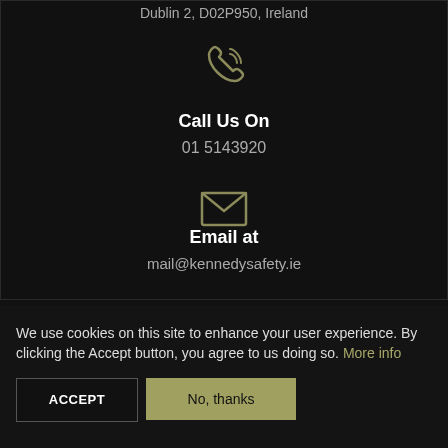Dublin 2, D02P950, Ireland
[Figure (illustration): Phone/call icon in olive/gold color]
Call Us On
01 5143920
[Figure (illustration): Envelope/email icon in olive/gold color]
Email at
mail@kennedysafety.ie
We use cookies on this site to enhance your user experience. By clicking the Accept button, you agree to us doing so. More info
ACCEPT
No, thanks